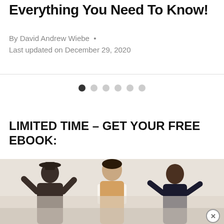Everything You Need To Know!
By David Andrew Wiebe  •
Last updated on December 29, 2020
[Figure (other): Carousel pagination dots: one filled dark dot followed by five light grey empty dots]
LIMITED TIME – GET YOUR FREE EBOOK:
[Figure (photo): Group of people reading and celebrating, partially visible at bottom of page, with semi-transparent overlay ad banner and close button]